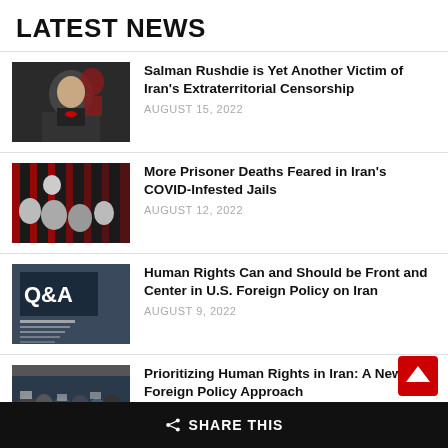LATEST NEWS
[Figure (photo): Dark dramatic photo of Salman Rushdie figure with red tones]
Salman Rushdie is Yet Another Victim of Iran's Extraterritorial Censorship
AUGUST 15, 2022
[Figure (photo): Black and white photo of prisoner faces with red bars overlay]
More Prisoner Deaths Feared in Iran's COVID-Infested Jails
AUGUST 12, 2022
[Figure (photo): Q&A document cover image with text about Human Rights in Iran]
Human Rights Can and Should be Front and Center in U.S. Foreign Policy on Iran
AUGUST 9, 2022
[Figure (photo): Crowd protest photo in blue tones]
Prioritizing Human Rights in Iran: A New U.S. Foreign Policy Approach
SHARE THIS